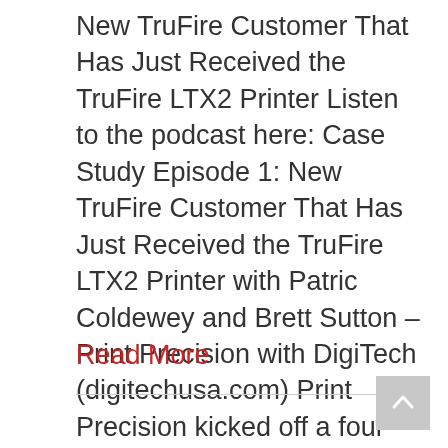New TruFire Customer That Has Just Received the TruFire LTX2 Printer Listen to the podcast here: Case Study Episode 1: New TruFire Customer That Has Just Received the TruFire LTX2 Printer with Patric Coldewey and Brett Sutton – Print Precision with DigiTech (digitechusa.com) Print Precision kicked off a four-part series with a case study on...
Read More